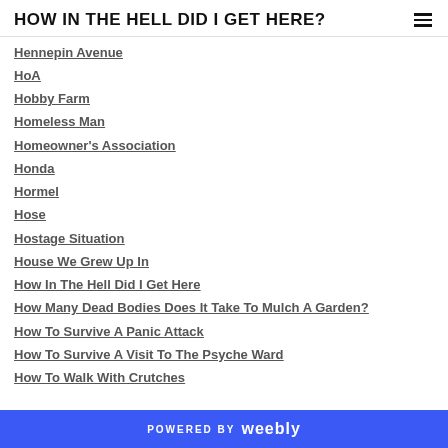HOW IN THE HELL DID I GET HERE?
Hennepin Avenue
HoA
Hobby Farm
Homeless Man
Homeowner's Association
Honda
Hormel
Hose
Hostage Situation
House We Grew Up In
How In The Hell Did I Get Here
How Many Dead Bodies Does It Take To Mulch A Garden?
How To Survive A Panic Attack
How To Survive A Visit To The Psyche Ward
How To Walk With Crutches
POWERED BY weebly